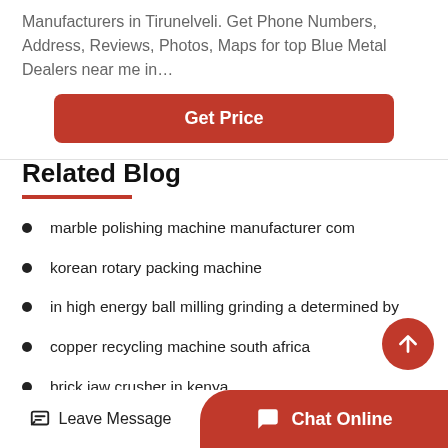Manufacturers in Tirunelveli. Get Phone Numbers, Address, Reviews, Photos, Maps for top Blue Metal Dealers near me in…
[Figure (other): Red 'Get Price' button]
Related Blog
marble polishing machine manufacturer com
korean rotary packing machine
in high energy ball milling grinding a determined by
copper recycling machine south africa
brick jaw crusher in kenya
[Figure (other): Scroll-to-top red circle button with up arrow]
[Figure (other): Bottom bar with Leave Message icon and Chat Online red button]